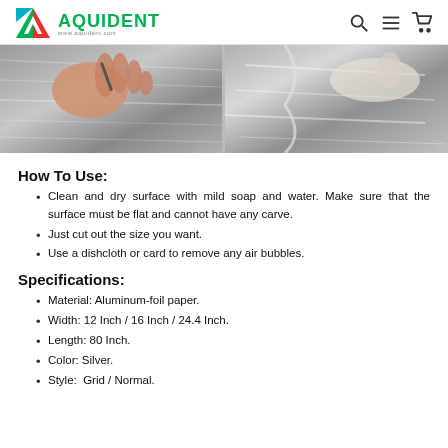AQUIDENT www.aquident.com
[Figure (photo): Two product photos showing hands applying or peeling aluminum-foil paper onto a surface.]
How To Use:
Clean and dry surface with mild soap and water. Make sure that the surface must be flat and cannot have any carve.
Just cut out the size you want.
Use a dishcloth or card to remove any air bubbles.
Specifications:
Material: Aluminum-foil paper.
Width: 12 Inch / 16 Inch / 24.4 Inch.
Length: 80 Inch.
Color: Silver.
Style:  Grid / Normal.